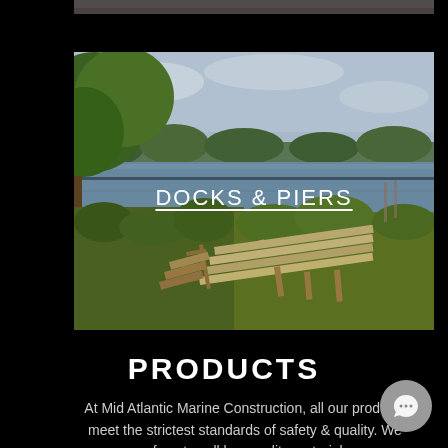[Figure (photo): Partial photo visible at top of page, cropped — appears to be a marine/outdoor scene with dark tones]
[Figure (photo): Outdoor photo of a wooden dock/pier extending toward a river or waterway, with lush green marsh vegetation in foreground and trees along the far bank under a cloudy sky. Text overlay reads 'DOCKS & PIERS' in white underlined letters.]
PRODUCTS
At Mid Atlantic Marine Construction, all our products meet the strictest standards of safety & quality. We refuse to sell low quality materials